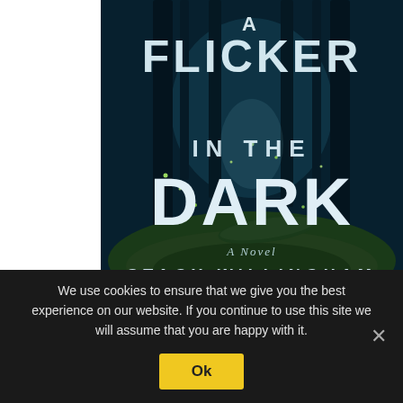[Figure (illustration): Book cover of 'A Flicker in the Dark' by Stacy Willingham. Dark atmospheric forest scene with glowing lights/fireflies. Large bold white text reads: A / FLICKER / IN THE / DARK / A Novel / STACY WILLINGHAM.]
We use cookies to ensure that we give you the best experience on our website. If you continue to use this site we will assume that you are happy with it.